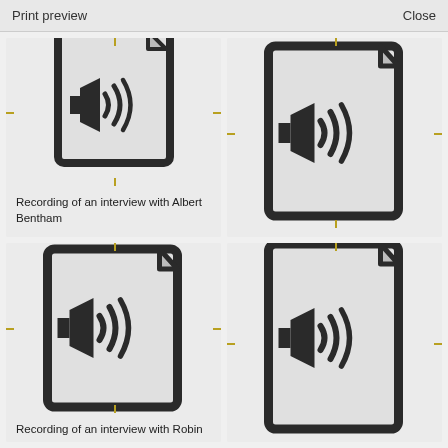Print preview   Close
[Figure (screenshot): Audio file icon (speaker with sound waves on document background) for Recording of an interview with Albert Bentham]
Recording of an interview with Albert Bentham
[Figure (screenshot): Audio file icon (speaker with sound waves on document background) for Recordings of interviews about urban development]
Recordings of interviews about urban development
[Figure (screenshot): Audio file icon (speaker with sound waves on document background) for Recording of an interview with Robin Craven]
Recording of an interview with Robin Craven
[Figure (screenshot): Audio file icon (speaker with sound waves on document background), partially visible fourth card]